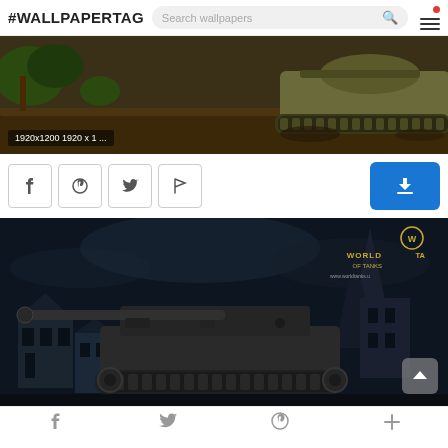#WALLPAPERTAG — Search wallpapers
[Figure (screenshot): Top wallpaper showing World of Tanks tank with mud terrain, labeled '1920x1200 1920 x 1 ...']
[Figure (screenshot): Action buttons row: Facebook, Pinterest, Twitter, Flag/Report icons and a blue download button]
[Figure (screenshot): Bottom wallpaper showing World of Tanks dark scene with heavy tank (Jagdpanzer/Jagdtiger) in a nighttime European village setting, World of Tanks logo visible top right]
f  Twitter  Pinterest  +